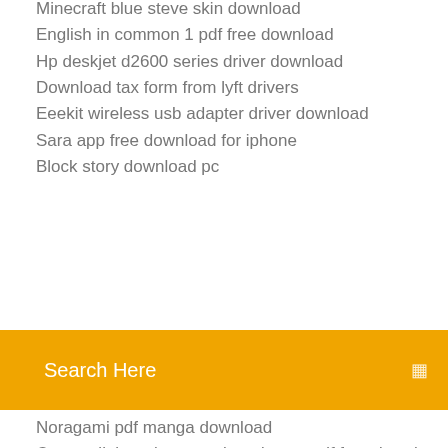Minecraft blue steve skin download
English in common 1 pdf free download
Hp deskjet d2600 series driver download
Download tax form from lyft drivers
Eeekit wireless usb adapter driver download
Sara app free download for iphone
Block story download pc
Search Here
Noragami pdf manga download
Ccna collaboration complete dumps pdf free download
Download apps with ituens
How to download wav files from youtube
Free download ummy video downloader latest version
Pixark apk download for android
Downloads stuck in app store mac
Download the good place episode 8 torrent
Download old versions utorrent
Google search results want me to download app